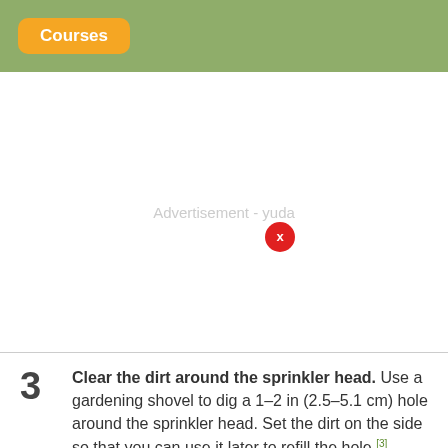Courses
[Figure (other): Advertisement area with close button (red circle with 'x') and text 'Advertisement - yuda']
3 Clear the dirt around the sprinkler head. Use a gardening shovel to dig a 1–2 in (2.5–5.1 cm) hole around the sprinkler head. Set the dirt on the side so that you can use it later to refill the hole.[3]